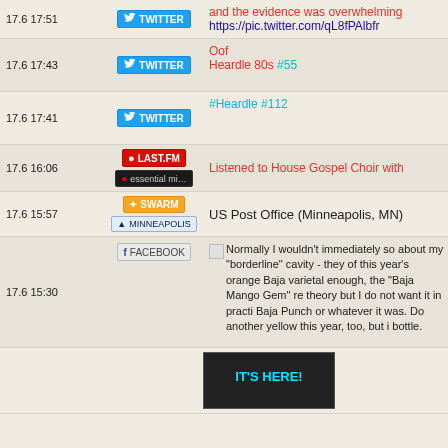17.6 17:51 | Twitter | and the evidence was overwhelming https://pic.twitter.com/qL8fPAlbfr
17.6 17:43 | Twitter | Oof
Heardle 80s #55
17.6 17:41 | Twitter | #Heardle #112
17.6 16:06 | Last.fm / Essential Mix | Listened to House Gospel Choir with
17.6 15:57 | Swarm / Minneapolis | US Post Office (Minneapolis, MN)
17.6 15:30 | Facebook | Normally I wouldn't immediately so about my "borderline" cavity - they of this year's orange Baja varietal enough, the "Baja Mango Gem" re theory but I do not want it in practi Baja Punch or whatever it was. Do another yellow this year, too, but i bottle.
[Figure (screenshot): Bottom image showing 'IT'S HERE!' text in cyan on dark background]